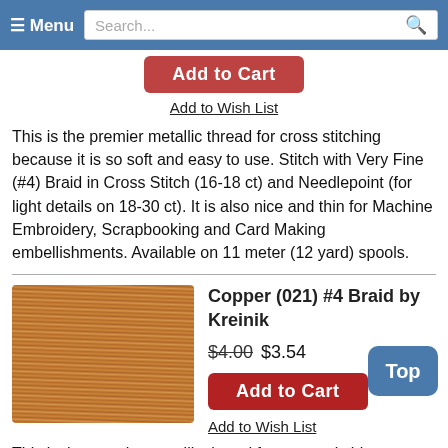Menu | Search
Add to Cart
Add to Wish List
This is the premier metallic thread for cross stitching because it is so soft and easy to use. Stitch with Very Fine (#4) Braid in Cross Stitch (16-18 ct) and Needlepoint (for light details on 18-30 ct). It is also nice and thin for Machine Embroidery, Scrapbooking and Card Making embellishments. Available on 11 meter (12 yard) spools.
[Figure (photo): Copper metallic thread braid spool close-up photo showing shiny copper/brown metallic thread texture]
Copper (021) #4 Braid by Kreinik
$4.00 $3.54
Add to Cart
Add to Wish List
This is the premier metallic thread for cross stitching because it is so soft and easy to use. Stitch with Very